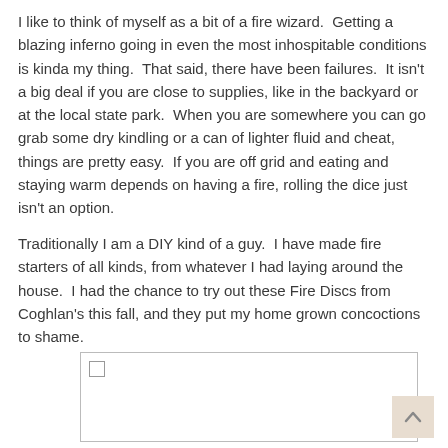I like to think of myself as a bit of a fire wizard.  Getting a blazing inferno going in even the most inhospitable conditions is kinda my thing.  That said, there have been failures.  It isn't a big deal if you are close to supplies, like in the backyard or at the local state park.  When you are somewhere you can go grab some dry kindling or a can of lighter fluid and cheat, things are pretty easy.  If you are off grid and eating and staying warm depends on having a fire, rolling the dice just isn't an option.
Traditionally I am a DIY kind of a guy.  I have made fire starters of all kinds, from whatever I had laying around the house.  I had the chance to try out these Fire Discs from Coghlan's this fall, and they put my home grown concoctions to shame.
[Figure (photo): A bordered image placeholder box with a small checkbox icon in the upper-left corner.]